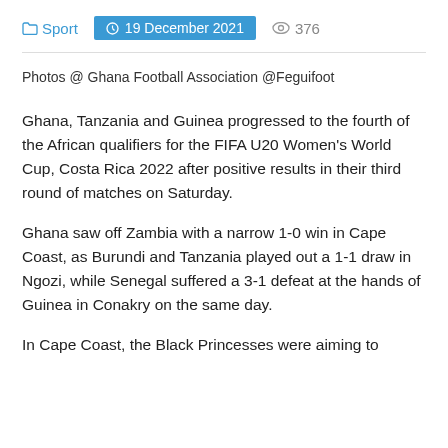Sport  19 December 2021  376
Photos @ Ghana Football Association @Feguifoot
Ghana, Tanzania and Guinea progressed to the fourth of the African qualifiers for the FIFA U20 Women's World Cup, Costa Rica 2022 after positive results in their third round of matches on Saturday.
Ghana saw off Zambia with a narrow 1-0 win in Cape Coast, as Burundi and Tanzania played out a 1-1 draw in Ngozi, while Senegal suffered a 3-1 defeat at the hands of Guinea in Conakry on the same day.
In Cape Coast, the Black Princesses were aiming to